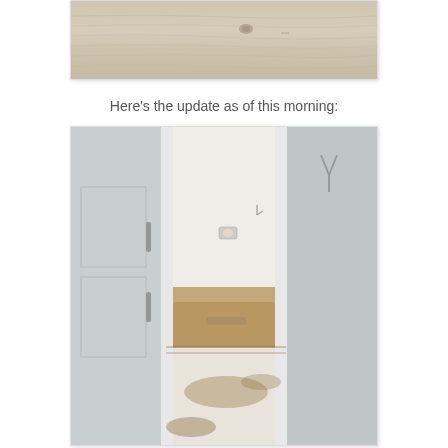[Figure (photo): Close-up photo of a light-colored plywood or wood panel surface showing wood grain texture and a knot]
Here's the update as of this morning:
[Figure (photo): Photo of a hallway or corridor with bare concrete/subfloor visible, white doors on either side, looking into a bathroom with toilet paper holder and bare walls, flooring removed]